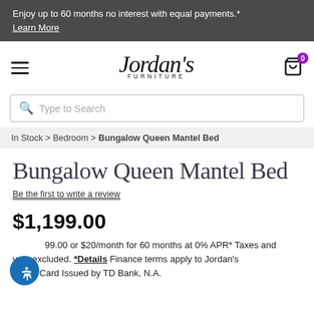Enjoy up to 60 months no interest with equal payments.*
Learn More
[Figure (logo): Jordan's Furniture logo with hamburger menu and shopping cart icon showing 0 items]
Type to Search
In Stock > Bedroom > Bungalow Queen Mantel Bed
Bungalow Queen Mantel Bed
Be the first to write a review
$1,199.00
...99.00 or $20/month for 60 months at 0% APR* Taxes and very excluded. *Details Finance terms apply to Jordan's Credit Card Issued by TD Bank, N.A.